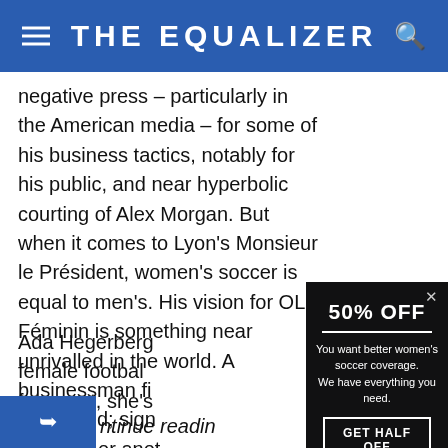THE EQUALIZER
negative press – particularly in the American media – for some of his business tactics, notably for his public, and near hyperbolic courting of Alex Morgan. But when it comes to Lyon's Monsieur le Président, women's soccer is equal to men's. His vision for OL Féminin is something near unrivalled in the world. A businessman fi... calculated; sign... one way or anot...
Ada Hegerberg... female footbal... foremost, she's...
[Figure (screenshot): Modal popup overlay with black background showing '50% OFF' promotion for The Equalizer women's soccer coverage, with 'GET HALF OFF' button]
ntinue readin...